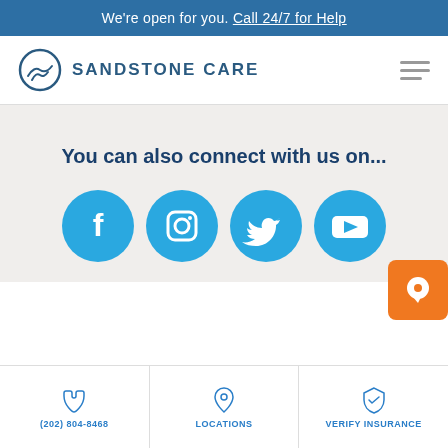We're open for you. Call 24/7 for Help
[Figure (logo): Sandstone Care logo with circular mountain/hands icon and bold uppercase text 'SANDSTONE CARE']
You can also connect with us on...
[Figure (infographic): Four blue circular social media icons: Facebook (f), Instagram (camera), Twitter (bird), YouTube (play button)]
(202) 804-8468 | LOCATIONS | VERIFY INSURANCE